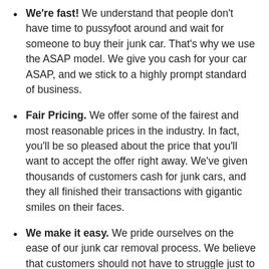We're fast! We understand that people don't have time to pussyfoot around and wait for someone to buy their junk car. That's why we use the ASAP model. We give you cash for your car ASAP, and we stick to a highly prompt standard of business.
Fair Pricing. We offer some of the fairest and most reasonable prices in the industry. In fact, you'll be so pleased about the price that you'll want to accept the offer right away. We've given thousands of customers cash for junk cars, and they all finished their transactions with gigantic smiles on their faces.
We make it easy. We pride ourselves on the ease of our junk car removal process. We believe that customers should not have to struggle just to get cash for junk cars. Selling your car should be